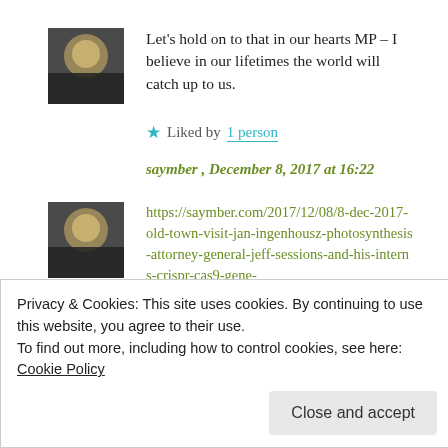Let's hold on to that in our hearts MP – I believe in our lifetimes the world will catch up to us.
★ Liked by 1 person
saymber , December 8, 2017 at 16:22
https://saymber.com/2017/12/08/8-dec-2017-old-town-visit-jan-ingenhousz-photosynthesis-attorney-general-jeff-sessions-and-his-interns-crispr-cas9-gene-
Privacy & Cookies: This site uses cookies. By continuing to use this website, you agree to their use.
To find out more, including how to control cookies, see here: Cookie Policy
Close and accept